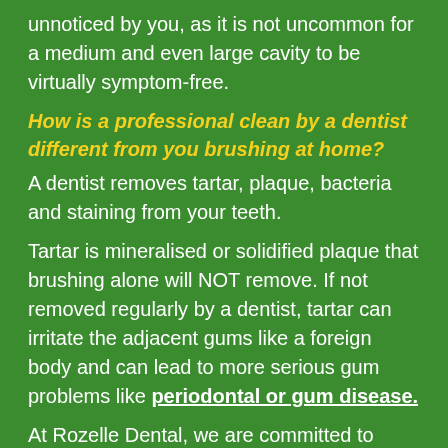unnoticed by you, as it is not uncommon for a medium and even large cavity to be virtually symptom-free.
How is a professional clean by a dentist different from you brushing at home?
A dentist removes tartar, plaque, bacteria and staining from your teeth.
Tartar is mineralised or solidified plaque that brushing alone will NOT remove. If not removed regularly by a dentist, tartar can irritate the adjacent gums like a foreign body and can lead to more serious gum problems like periodontal or gum disease.
At Rozelle Dental, we are committed to helping you improve your oral health and maintain a healthier,